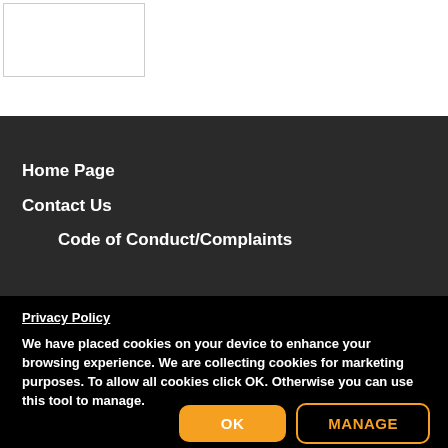[Figure (other): White rectangle placeholder image box with border]
Home Page
Contact Us
Code of Conduct/Complaints
Privacy Policy
We have placed cookies on your device to enhance your browsing experience. We are collecting cookies for marketing purposes. To allow all cookies click OK. Otherwise you can use this tool to manage.
OK
MANAGE